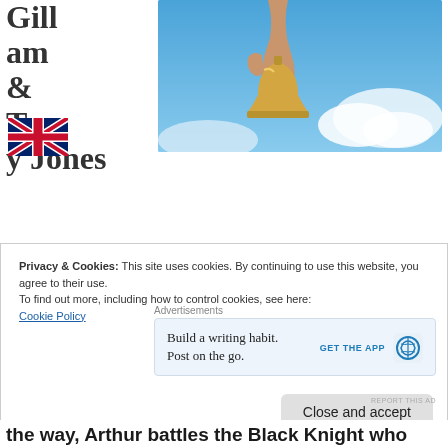Gilliam & Terry Jones
[Figure (photo): A hand holding a golden bell against a blue sky with white clouds — likely from Monty Python and the Holy Grail]
[Figure (illustration): UK flag (Union Jack) icon]
Advertisements
[Figure (infographic): WordPress advertisement: 'Build a writing habit. Post on the go.' with GET THE APP button and WordPress logo]
REPORT THIS AD
Privacy & Cookies: This site uses cookies. By continuing to use this website, you agree to their use.
To find out more, including how to control cookies, see here:
Cookie Policy
Close and accept
the way, Arthur battles the Black Knight who